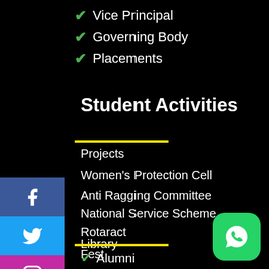✔ Vice Principal
✔ Governing Body
✔ Placements
Student Activities
Projects
Women's Protection Cell
Anti Ragging Committee
National Service Scheme
Rotaract
Library
Fest
Other Links
✔ Alumni